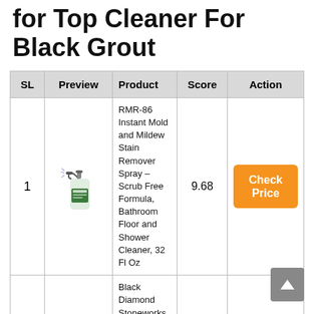for Top Cleaner For Black Grout
| SL | Preview | Product | Score | Action |
| --- | --- | --- | --- | --- |
| 1 | [product image] | RMR-86 Instant Mold and Mildew Stain Remover Spray – Scrub Free Formula, Bathroom Floor and Shower Cleaner, 32 Fl Oz | 9.68 | Check Price |
| 2 | [product image] | Black Diamond Stoneworks Granite Counter Cleaner: USDA Certified BIOBASED- Safe for Granite... | 9.84 | Check Price |